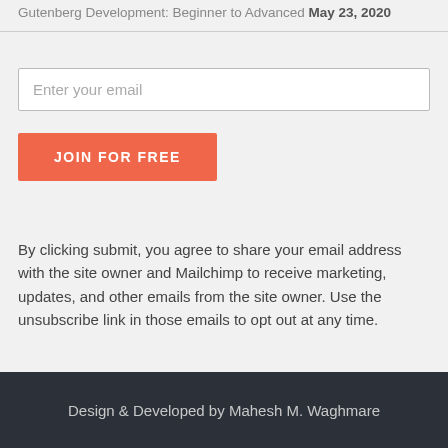Gutenberg Development: Beginner to Advanced May 23, 2020
Enter your email
JOIN FOR FREE
By clicking submit, you agree to share your email address with the site owner and Mailchimp to receive marketing, updates, and other emails from the site owner. Use the unsubscribe link in those emails to opt out at any time.
Design & Developed by Mahesh M. Waghmare